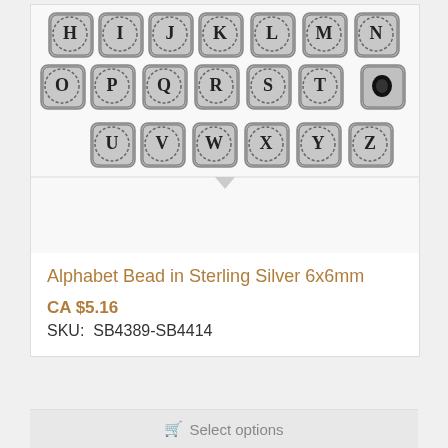[Figure (photo): Product photo of sterling silver alphabet cube beads arranged in rows showing letters H through Z, with decorative dotted borders around each letter on silver-toned square beads.]
Alphabet Bead in Sterling Silver 6x6mm
CA $5.16
SKU:  SB4389-SB4414
Select options